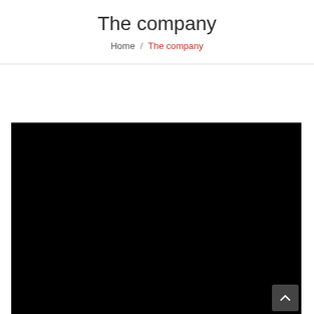The company
Home / The company
[Figure (photo): A large black image area, likely a video or photo placeholder, occupying the lower portion of the page. A scroll-to-top button is visible in the bottom-right corner.]